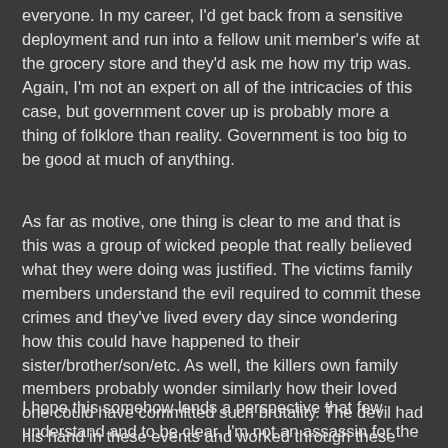everyone. In my career, I'd get back from a sensitive deployment and run into a fellow unit member's wife at the grocery store and they'd ask me how my trip was. Again, I'm not an expert on all of the intricacies of this case, but government cover up is probably more a thing of folklore than reality. Government is too big to be good at much of anything.
As far as motive, one thing is clear to me and that is this was a group of wicked people that really believed what they were doing was justified. The victims family members understand the evil required to commit these crimes and they've lived every day since wondering how this could have happened to their sister/brother/son/etc. As well, the killers own family members probably wonder similarly how their loved one could have committed such brutality. The devil had his hand in these events and worked through these people.
I hope this somehow lends a perspective that few understand and to be clear, I'm not an assassin for the government, I'm not a baby killer fighting George Bush's dirty